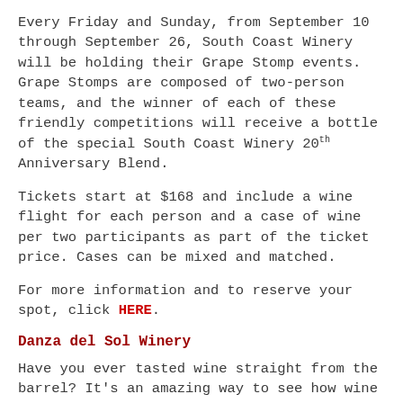Every Friday and Sunday, from September 10 through September 26, South Coast Winery will be holding their Grape Stomp events. Grape Stomps are composed of two-person teams, and the winner of each of these friendly competitions will receive a bottle of the special South Coast Winery 20th Anniversary Blend.
Tickets start at $168 and include a wine flight for each person and a case of wine per two participants as part of the ticket price. Cases can be mixed and matched.
For more information and to reserve your spot, click HERE.
Danza del Sol Winery
Have you ever tasted wine straight from the barrel? It's an amazing way to see how wine develops with time, and get a sense of its life-cycle before it makes it to the bottle and, ultimately, your glass.
On September 1, Danza del Sol is opening their barrel room